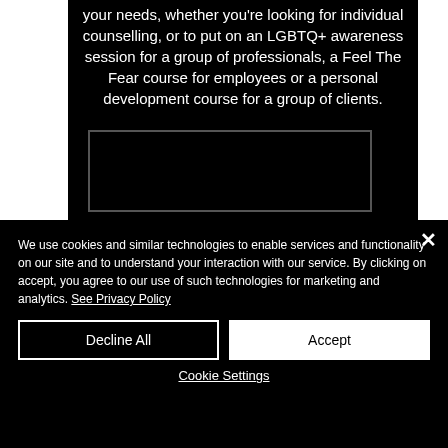your needs, whether you're looking for individual counselling, or to put on an LGBTQ+ awareness session for a group of professionals, a Feel The Fear course for employees or a personal development course for a group of clients.
[Figure (other): A dark/black rectangular video embed placeholder box]
We use cookies and similar technologies to enable services and functionality on our site and to understand your interaction with our service. By clicking on accept, you agree to our use of such technologies for marketing and analytics. See Privacy Policy
Decline All
Accept
Cookie Settings